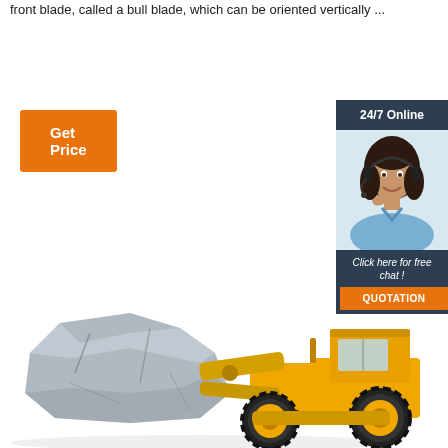front blade, called a bull blade, which can be oriented vertically ...
Get Price
[Figure (other): 24/7 Online chat widget with a smiling female customer service representative wearing a headset, dark navy background, orange QUOTATION button, text 'Click here for free chat!']
[Figure (photo): Yellow wheel loader/bulldozer carrying a large grey rock/boulder in its front bucket, on white background]